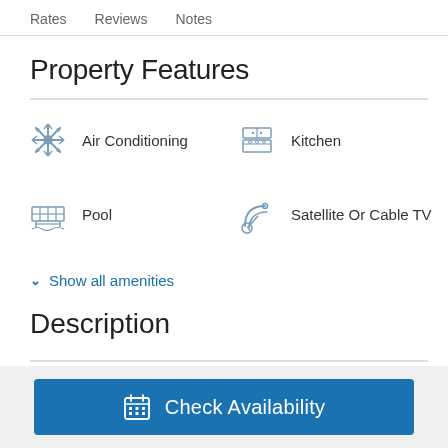Rates   Reviews   Notes
Property Features
Air Conditioning
Kitchen
Pool
Satellite Or Cable TV
Show all amenities
Description
Check Availability